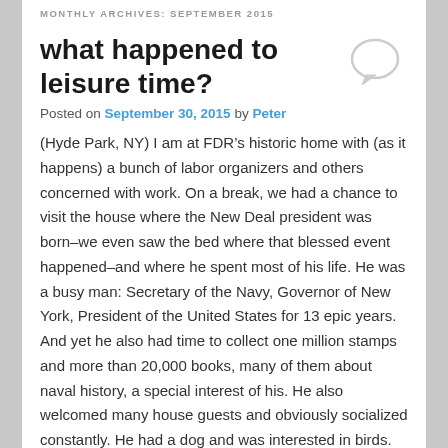MONTHLY ARCHIVES: SEPTEMBER 2015
what happened to leisure time?
Posted on September 30, 2015 by Peter
(Hyde Park, NY) I am at FDR’s historic home with (as it happens) a bunch of labor organizers and others concerned with work. On a break, we had a chance to visit the house where the New Deal president was born–we even saw the bed where that blessed event happened–and where he spent most of his life. He was a busy man: Secretary of the Navy, Governor of New York, President of the United States for 13 epic years. And yet he also had time to collect one million stamps and more than 20,000 books, many of them about naval history, a special interest of his. He also welcomed many house guests and obviously socialized constantly. He had a dog and was interested in birds.